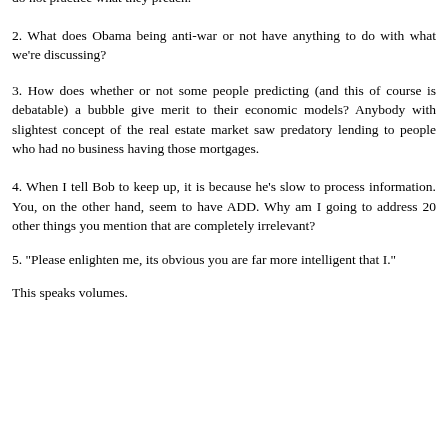do not practice what they preach.
2. What does Obama being anti-war or not have anything to do with what we're discussing?
3. How does whether or not some people predicting (and this of course is debatable) a bubble give merit to their economic models? Anybody with slightest concept of the real estate market saw predatory lending to people who had no business having those mortgages.
4. When I tell Bob to keep up, it is because he's slow to process information. You, on the other hand, seem to have ADD. Why am I going to address 20 other things you mention that are completely irrelevant?
5. "Please enlighten me, its obvious you are far more intelligent that I."
This speaks volumes.